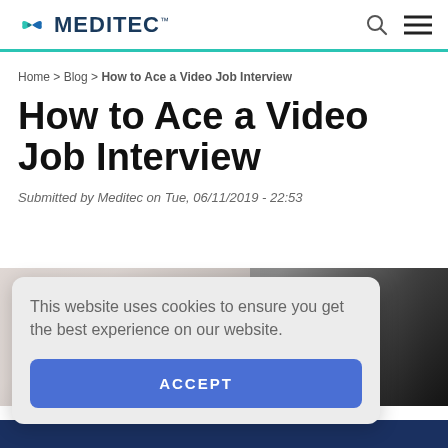MEDITEC
Home > Blog > How to Ace a Video Job Interview
How to Ace a Video Job Interview
Submitted by Meditec on Tue, 06/11/2019 - 22:53
[Figure (photo): Partial photo of a video job interview scene, partially obscured by cookie consent overlay]
This website uses cookies to ensure you get the best experience on our website.
ACCEPT